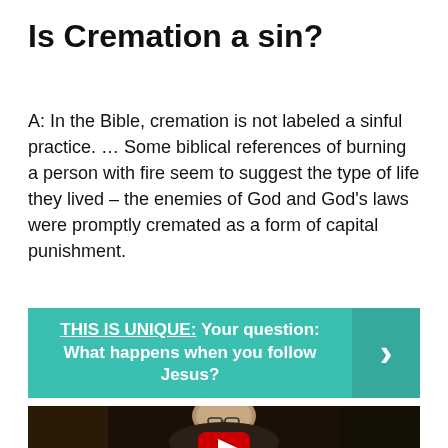Is Cremation a sin?
A: In the Bible, cremation is not labeled a sinful practice. … Some biblical references of burning a person with fire seem to suggest the type of life they lived – the enemies of God and God's laws were promptly cremated as a form of capital punishment.
THIS IS UNIQUE:  Your question: What happens when you follow Jesus?
[Figure (photo): A person (appears to be a middle-aged man with glasses and short grey hair) seen from shoulders up against a dark background, with a red YouTube play button overlay at the bottom center.]